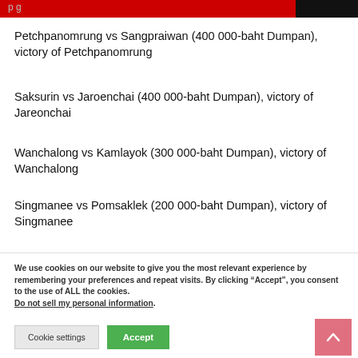p g
Petchpanomrung vs Sangpraiwan (400 000-baht Dumpan), victory of Petchpanomrung
Saksurin vs Jaroenchai (400 000-baht Dumpan), victory of Jareonchai
Wanchalong vs Kamlayok (300 000-baht Dumpan), victory of Wanchalong
Singmanee vs Pomsaklek (200 000-baht Dumpan), victory of Singmanee
We use cookies on our website to give you the most relevant experience by remembering your preferences and repeat visits. By clicking “Accept”, you consent to the use of ALL the cookies. Do not sell my personal information.